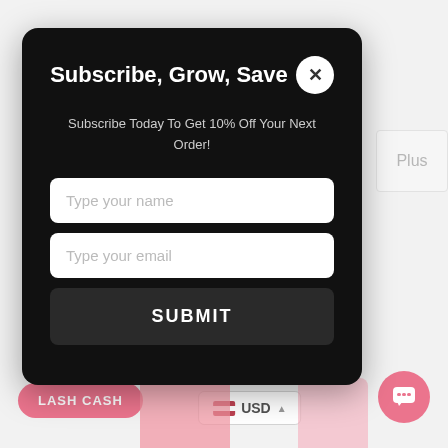Subscribe, Grow, Save
Subscribe Today To Get 10% Off Your Next Order!
Type your name
Type your email
SUBMIT
SIMILAR PRODUCTS
LASH CASH
USD